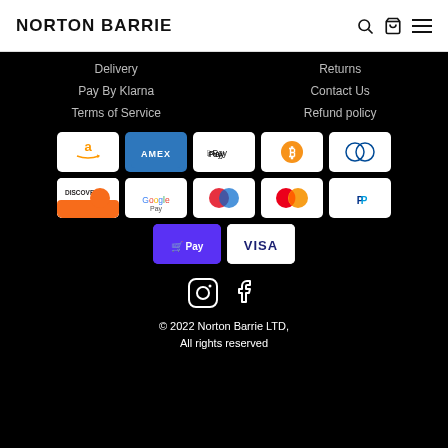NORTON BARRIE
Delivery
Returns
Pay By Klarna
Contact Us
Terms of Service
Refund policy
[Figure (logo): Payment method icons: Amazon, Amex, Apple Pay, Bitcoin, Diners Club, Discover, Google Pay, Maestro, Mastercard, PayPal, Shop Pay, Visa]
[Figure (logo): Social media icons: Instagram and Facebook]
© 2022 Norton Barrie LTD, All rights reserved